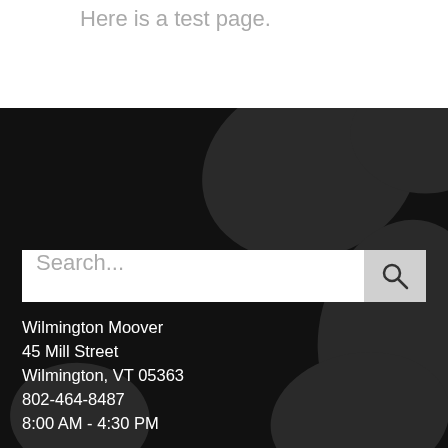Here is a test page.
[Figure (illustration): Dark background with cow-spot blobs pattern and a search bar]
Search...
Wilmington Moover
45 Mill Street
Wilmington, VT 05363
802-464-8487
8:00 AM - 4:30 PM
Rockingham Moover
706 Rockingham Road
Rockingham, VT 05101
888-869-6287
or 802-460-7433
7:45 AM - 4:30 PM